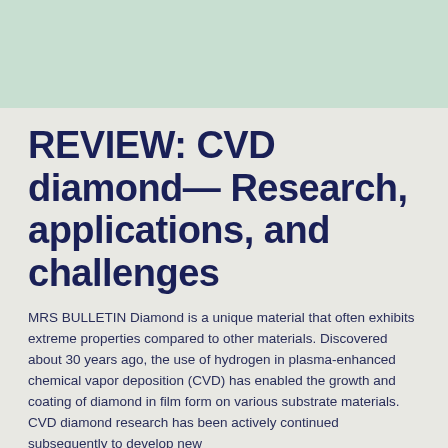[Figure (logo): Advent Diamond logo with geometric diamond-shaped letter A in teal/green outline and bold navy text 'ADVENT' with 'DIAMOND' below in spaced letters]
REVIEW: CVD diamond— Research, applications, and challenges
MRS BULLETIN Diamond is a unique material that often exhibits extreme properties compared to other materials. Discovered about 30 years ago, the use of hydrogen in plasma-enhanced chemical vapor deposition (CVD) has enabled the growth and coating of diamond in film form on various substrate materials. CVD diamond research has been actively continued subsequently to develop new